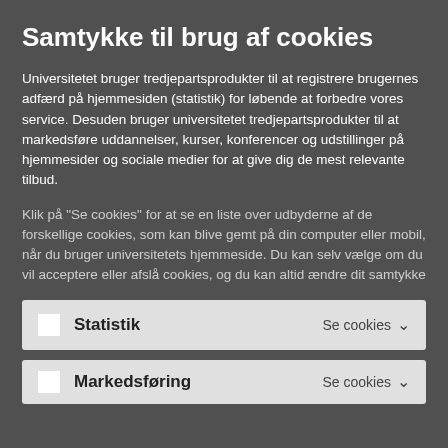Samtykke til brug af cookies
Universitetet bruger tredjepartsprodukter til at registrere brugernes adfærd på hjemmesiden (statistik) for løbende at forbedre vores service. Desuden bruger universitetet tredjepartsprodukter til at markedsføre uddannelser, kurser, konferencer og udstillinger på hjemmesider og sociale medier for at give dig de mest relevante tilbud.
Klik på "Se cookies" for at se en liste over udbyderne af de forskellige cookies, som kan blive gemt på din computer eller mobil, når du bruger universitetets hjemmeside. Du kan selv vælge om du vil acceptere eller afslå cookies, og du kan altid ændre dit samtykke
Statistik    Se cookies
Markedsføring    Se cookies